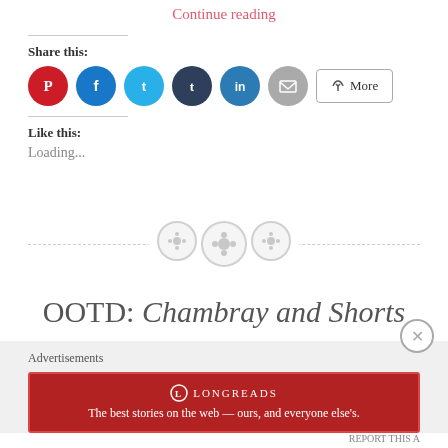Continue reading
Share this:
[Figure (infographic): Social sharing buttons: Pinterest (red), Facebook (blue), Twitter (cyan), Tumblr (dark blue), LinkedIn (blue), Email (gray), and a More button]
Like this:
Loading...
[Figure (illustration): Decorative section divider with dashed line and three circular button-like icons in the center]
OOTD: Chambray and Shorts
Advertisements
[Figure (other): Longreads advertisement banner: red background with Longreads logo and tagline 'The best stories on the web — ours, and everyone else's.']